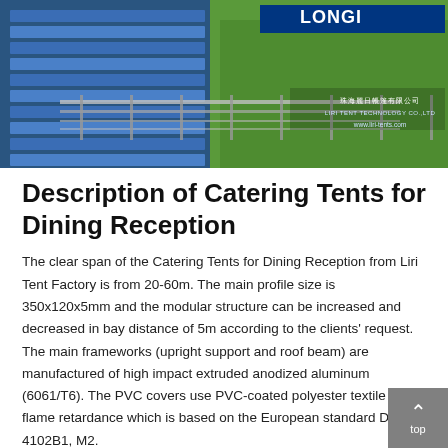[Figure (photo): Outdoor event venue photo showing blue stadium seating on the left and green grass field on the right, with metal fencing/barriers in the foreground. A Longines banner is visible in the background. The Liri Tent Technology Co.,Ltd logo and website (www.liri-tents.com) appear in the upper right with Chinese text above.]
Description of Catering Tents for Dining Reception
The clear span of the Catering Tents for Dining Reception from Liri Tent Factory is from 20-60m. The main profile size is 350x120x5mm and the modular structure can be increased and decreased in bay distance of 5m according to the clients' request. The main frameworks (upright support and roof beam) are manufactured of high impact extruded anodized aluminum (6061/T6). The PVC covers use PVC-coated polyester textile and flame retardance which is based on the European standard DIN 4102B1, M2.
Liri BT Series: